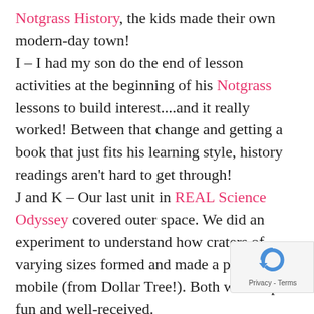Notgrass History, the kids made their own modern-day town! I – I had my son do the end of lesson activities at the beginning of his Notgrass lessons to build interest....and it really worked! Between that change and getting a book that just fits his learning style, history readings aren't hard to get through! J and K – Our last unit in REAL Science Odyssey covered outer space. We did an experiment to understand how craters of varying sizes formed and made a planet mobile (from Dollar Tree!). Both were super fun and well-received. L and M – These were mama original activities when things started to the attention started to drift in our Heart of Dakota and BJU Press English studies. I took the topic covered and found a way to engage my son. Years ago, I never would have had the confidence to do this. So these pictures make me smile big! N – Our Jupiter model made my son's list for favorite